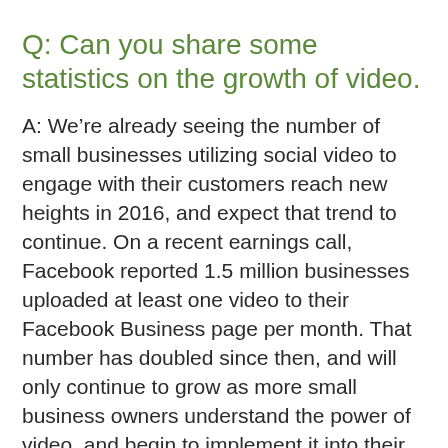Q: Can you share some statistics on the growth of video.
A: We’re already seeing the number of small businesses utilizing social video to engage with their customers reach new heights in 2016, and expect that trend to continue. On a recent earnings call, Facebook reported 1.5 million businesses uploaded at least one video to their Facebook Business page per month. That number has doubled since then, and will only continue to grow as more small business owners understand the power of video, and begin to implement it into their ongoing marketing strategies.
Q: Should business owners DIY video production, hire a contractor or find